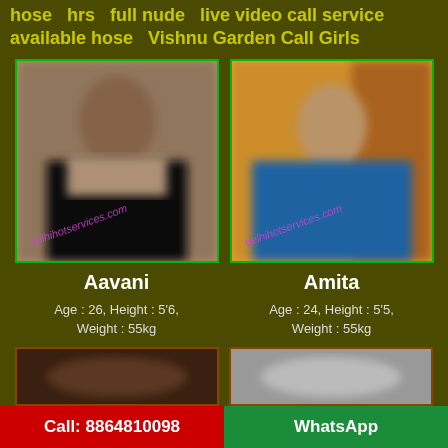hose  hrs  full nude  live video call service available hose  Vishnu Garden Call Girls
[Figure (photo): Blurred photo of a woman in black outfit, watermark: delhihotservices.com]
[Figure (photo): Blurred photo of a woman in blue outfit, watermark: delhihotservices.com]
Aavani
Amita
Age : 26, Height : 5'6, Weight : 55kg
Age : 24, Height : 5'5, Weight : 55kg
[Figure (photo): Partially visible blurred photo at bottom left]
[Figure (photo): Partially visible blurred photo at bottom right]
Call: 8864810098    WhatsApp